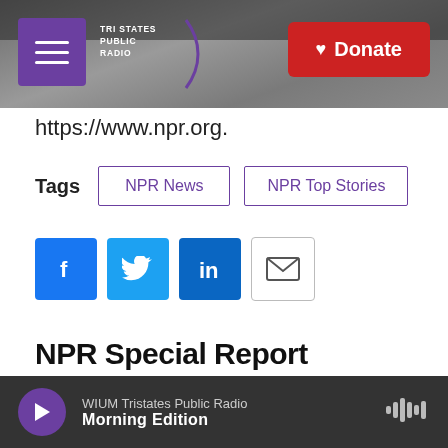[Figure (screenshot): Tri States Public Radio website header banner with hamburger menu, logo, and red Donate button on a grayscale background photo of a radio tower]
https://www.npr.org.
Tags   NPR News   NPR Top Stories
[Figure (infographic): Social sharing buttons: Facebook (blue), Twitter (blue), LinkedIn (blue), Email (white/gray border)]
NPR Special Report
WIUM Tristates Public Radio  Morning Edition